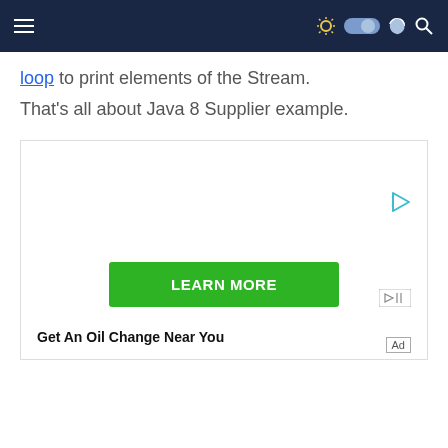Navigation bar with hamburger menu and dark/light mode toggle and search icon
loop to print elements of the Stream.
That's all about Java 8 Supplier example.
[Figure (screenshot): Advertisement box with a play icon in the top-right corner, a green 'LEARN MORE' button, ad badge icons, and text 'Get An Oil Change Near You'. An 'Ad' label appears at the bottom right.]